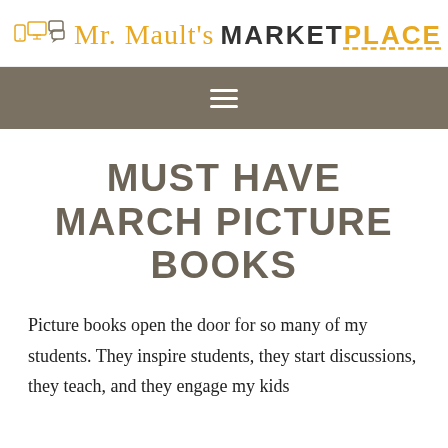Mr. Mault's MARKETPLACE
MUST HAVE MARCH PICTURE BOOKS
Picture books open the door for so many of my students. They inspire students, they start discussions, they teach, and they engage my kids